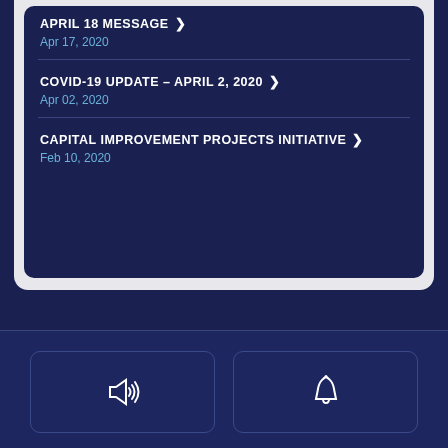APRIL 18 MESSAGE ❯
Apr 17, 2020
COVID-19 UPDATE – APRIL 2, 2020 ❯
Apr 02, 2020
CAPITAL IMPROVEMENT PROJECTS INITIATIVE ❯
Feb 10, 2020
[Figure (illustration): Megaphone / announcement icon, white outline on dark navy background, inside a rounded rectangle button]
[Figure (illustration): Bell / notification icon, white outline on dark navy background, inside a rounded rectangle button]